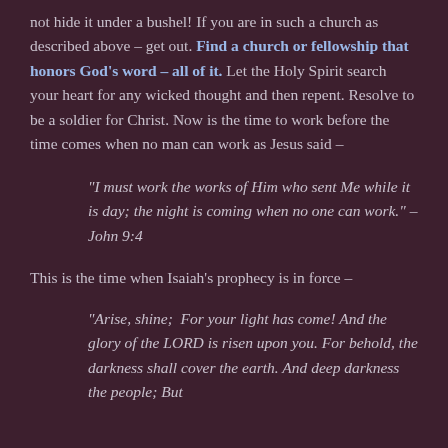not hide it under a bushel! If you are in such a church as described above – get out. Find a church or fellowship that honors God's word – all of it. Let the Holy Spirit search your heart for any wicked thought and then repent. Resolve to be a soldier for Christ. Now is the time to work before the time comes when no man can work as Jesus said –
"I must work the works of Him who sent Me while it is day; the night is coming when no one can work." – John 9:4
This is the time when Isaiah's prophecy is in force –
"Arise, shine;  For your light has come! And the glory of the LORD is risen upon you. For behold, the darkness shall cover the earth. And deep darkness the people; But